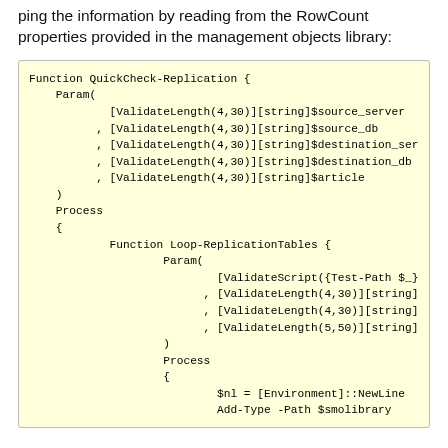ping the information by reading from the RowCount properties provided in the management objects library:
Function QuickCheck-Replication {
    Param(
            [ValidateLength(4,30)][string]$source_server
          , [ValidateLength(4,30)][string]$source_db
          , [ValidateLength(4,30)][string]$destination_serv
          , [ValidateLength(4,30)][string]$destination_db
          , [ValidateLength(4,30)][string]$article
    )
    Process
    {
            Function Loop-ReplicationTables {
                    Param(
                            [ValidateScript({Test-Path $_})][string]$
                          , [ValidateLength(4,30)][string]$articles
                          , [ValidateLength(4,30)][string]$articled
                          , [ValidateLength(5,50)][string]$article
                    )
                    Process
                    {
                            $nl = [Environment]::NewLine
                            Add-Type -Path $smolibrary